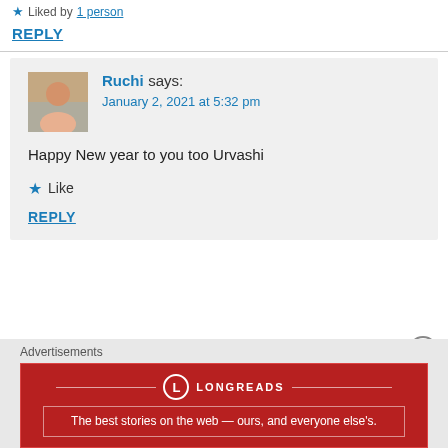Liked by 1 person
REPLY
Ruchi says:
January 2, 2021 at 5:32 pm
Happy New year to you too Urvashi
Like
REPLY
Advertisements
[Figure (logo): Longreads ad banner: logo circle with L, brand name LONGREADS, tagline 'The best stories on the web — ours, and everyone else's.' on dark red background]